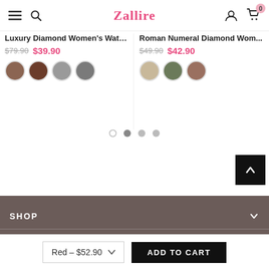Zalire — navigation header with hamburger menu, search, logo, user icon, cart (0)
Luxury Diamond Women's Watch
$79.90  $39.90
Roman Numeral Diamond Wom...
$49.90  $42.90
[Figure (other): Pagination dots: one outline circle and three filled grey circles]
[Figure (other): Back-to-top button: black square with upward chevron arrow]
SHOP
INFORMATION
Red - $52.90  ∨   ADD TO CART